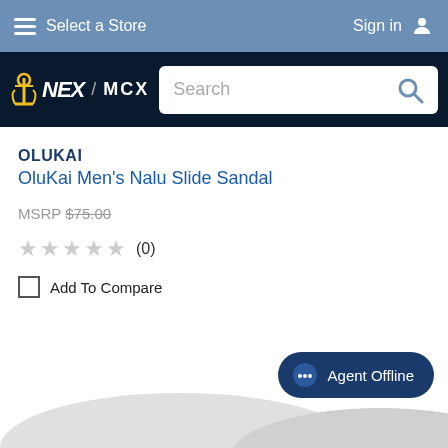Select a Store  |  Sign in
[Figure (logo): NEX / MCX logo with anchor icon and search bar]
OLUKAI
OluKai Men's Nalu Slide Sandal
MSRP $75.00
★★★★★ (0)
Add To Compare
Agent Offline